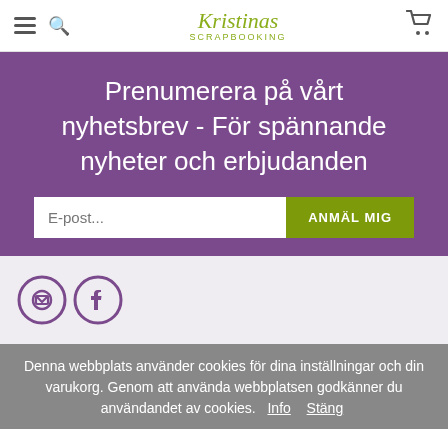Kristinas SCRAPBOOKING
Prenumerera på vårt nyhetsbrev - För spännande nyheter och erbjudanden
E-post...
ANMÄL MIG
[Figure (illustration): Email icon circle and Facebook icon circle in purple outline style]
Denna webbplats använder cookies för dina inställningar och din varukorg. Genom att använda webbplatsen godkänner du användandet av cookies.  Info  Stäng